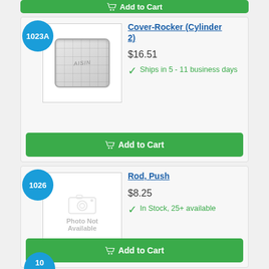[Figure (other): Partial green Add to Cart button at top of page]
[Figure (photo): Product image of Cover-Rocker (Cylinder 2) part #1023A - silver rectangular rocker cover with grid pattern]
Cover-Rocker (Cylinder 2)
$16.51
Ships in 5 - 11 business days
[Figure (other): Green Add to Cart button for Cover-Rocker]
[Figure (other): Photo Not Available placeholder image for Rod, Push part #1026]
Rod, Push
$8.25
In Stock, 25+ available
[Figure (other): Green Add to Cart button for Rod, Push]
[Figure (other): Partial blue circular badge at bottom of page (item 1027 or similar)]